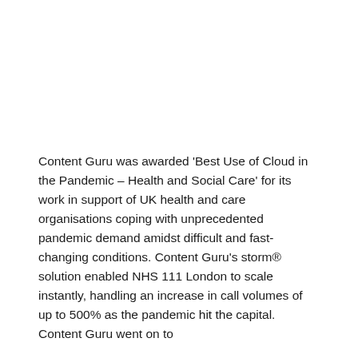Content Guru was awarded 'Best Use of Cloud in the Pandemic – Health and Social Care' for its work in support of UK health and care organisations coping with unprecedented pandemic demand amidst difficult and fast-changing conditions. Content Guru's storm® solution enabled NHS 111 London to scale instantly, handling an increase in call volumes of up to 500% as the pandemic hit the capital. Content Guru went on to